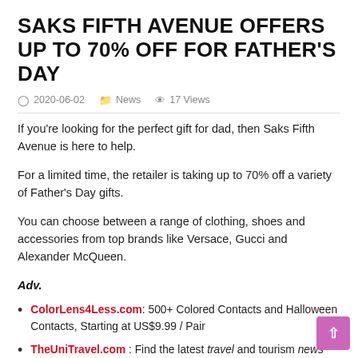SAKS FIFTH AVENUE OFFERS UP TO 70% OFF FOR FATHER'S DAY
2020-06-02  News  17 Views
If you're looking for the perfect gift for dad, then Saks Fifth Avenue is here to help.
For a limited time, the retailer is taking up to 70% off a variety of Father's Day gifts.
You can choose between a range of clothing, shoes and accessories from top brands like Versace, Gucci and Alexander McQueen.
Adv.
ColorLens4Less.com: 500+ Colored Contacts and Halloween Contacts, Starting at US$9.99 / Pair
TheUniTravel.com : Find the latest travel and tourism news from around the world. Stay informed with travel news and updates
Online Dating Free.com : Meet People In Your City, Free and Join